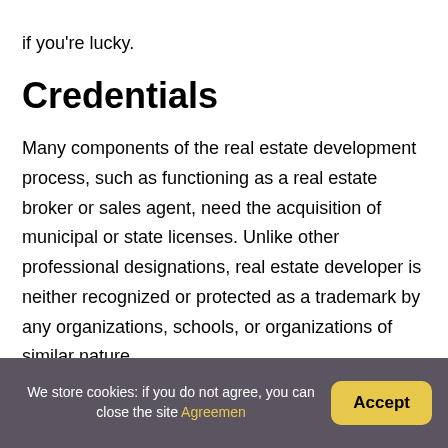if you're lucky.
Credentials
Many components of the real estate development process, such as functioning as a real estate broker or sales agent, need the acquisition of municipal or state licenses. Unlike other professional designations, real estate developer is neither recognized or protected as a trademark by any organizations, schools, or organizations of similar nature.
Paths for entering the
We store cookies: if you do not agree, you can close the site Agreemen